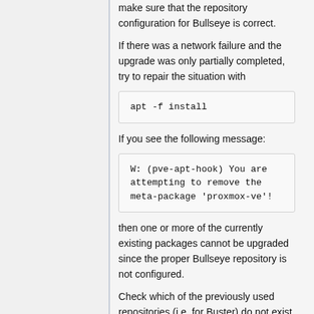make sure that the repository configuration for Bullseye is correct.
If there was a network failure and the upgrade was only partially completed, try to repair the situation with
If you see the following message:
then one or more of the currently existing packages cannot be upgraded since the proper Bullseye repository is not configured.
Check which of the previously used repositories (i.e. for Buster) do not exist